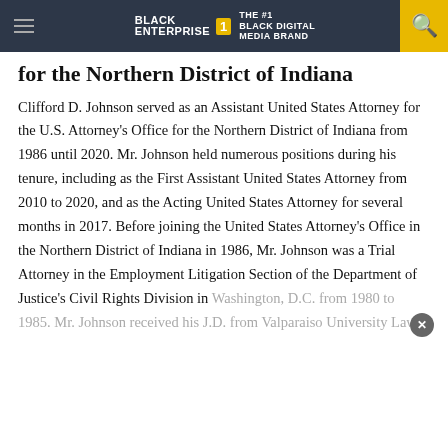BLACK ENTERPRISE THE #1 BLACK DIGITAL MEDIA BRAND
for the Northern District of Indiana
Clifford D. Johnson served as an Assistant United States Attorney for the U.S. Attorney's Office for the Northern District of Indiana from 1986 until 2020. Mr. Johnson held numerous positions during his tenure, including as the First Assistant United States Attorney from 2010 to 2020, and as the Acting United States Attorney for several months in 2017. Before joining the United States Attorney's Office in the Northern District of Indiana in 1986, Mr. Johnson was a Trial Attorney in the Employment Litigation Section of the Department of Justice's Civil Rights Division in Washington, D.C. from 1980 to 1985. Mr. Johnson received his J.D. from Valparaiso University Law